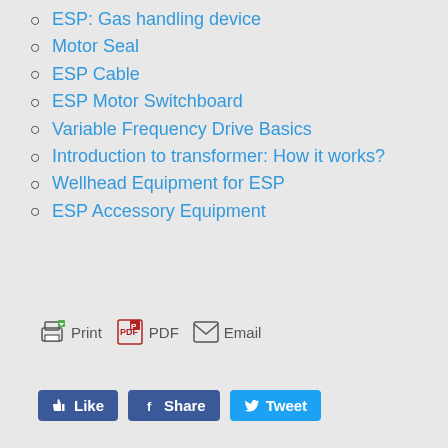ESP: Gas handling device
Motor Seal
ESP Cable
ESP Motor Switchboard
Variable Frequency Drive Basics
Introduction to transformer: How it works?
Wellhead Equipment for ESP
ESP Accessory Equipment
Print  PDF  Email
Like  Share  Tweet